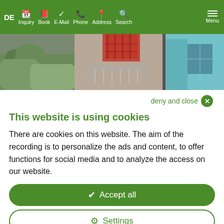DE  Inquiry  Book  E-Mail  Phone  Address  Search  Menu
[Figure (photo): Hero image showing a person in a red plaid shirt on a balcony, with green foliage on the left and a teal/blue building on the right]
deny and close ✕
This website is using cookies
There are cookies on this website. The aim of the recording is to personalize the ads and content, to offer functions for social media and to analyze the access on our website.
✔ Accept all
⚙ Settings
Tool made by